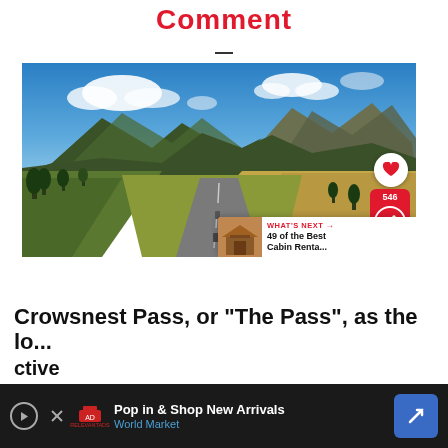Comment
[Figure (photo): Aerial landscape photograph showing a two-lane road stretching toward distant mountains under a blue sky with white clouds, green and golden fields on either side, trees along the road, taken from drone perspective.]
WHAT'S NEXT → 49 of the Best Cabin Renta...
Crowsnest Pass, or "The Pass", as the lo... ctive